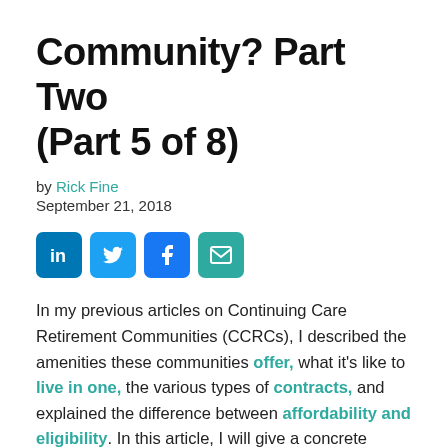Community? Part Two (Part 5 of 8)
by Rick Fine
September 21, 2018
[Figure (other): Social media share icons: LinkedIn, Twitter, Facebook, Email]
In my previous articles on Continuing Care Retirement Communities (CCRCs), I described the amenities these communities offer, what it's like to live in one, the various types of contracts, and explained the difference between affordability and eligibility. In this article, I will give a concrete example of the latter.
Introducing Martha, a CCRC applicant